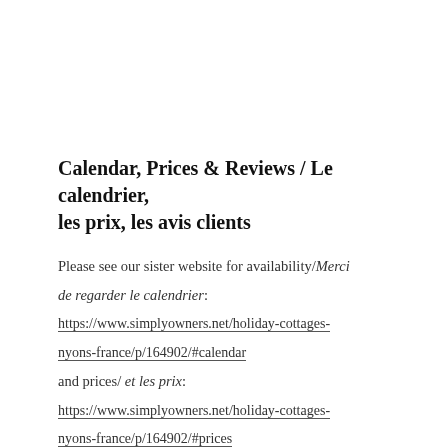Calendar, Prices & Reviews / Le calendrier, les prix, les avis clients
Please see our sister website for availability/Merci de regarder le calendrier: https://www.simplyowners.net/holiday-cottages-nyons-france/p/164902/#calendar and prices/ et les prix: https://www.simplyowners.net/holiday-cottages-nyons-france/p/164902/#prices You'll also find our 5* reviews about Villa Rental Provence at / Les avis clients: